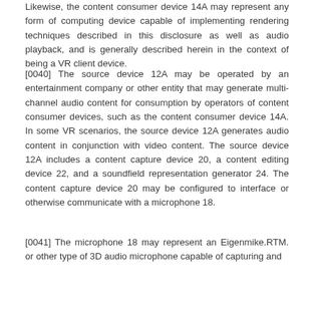Likewise, the content consumer device 14A may represent any form of computing device capable of implementing rendering techniques described in this disclosure as well as audio playback, and is generally described herein in the context of being a VR client device.
[0040] The source device 12A may be operated by an entertainment company or other entity that may generate multi-channel audio content for consumption by operators of content consumer devices, such as the content consumer device 14A. In some VR scenarios, the source device 12A generates audio content in conjunction with video content. The source device 12A includes a content capture device 20, a content editing device 22, and a soundfield representation generator 24. The content capture device 20 may be configured to interface or otherwise communicate with a microphone 18.
[0041] The microphone 18 may represent an Eigenmike.RTM. or other type of 3D audio microphone capable of capturing and